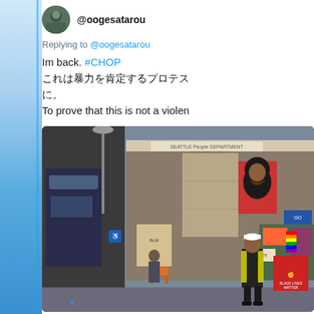[Figure (screenshot): Twitter/social media screenshot showing a profile avatar and username @oogesatarou]
Replying to @oogesatarou
Im back. #CHOP
これは暴力を肯定するプロテス
に。
To prove that this is not a violen
[Figure (photo): Street photo showing exterior of Seattle Police Department East Precinct building with protest signs, graffiti, a person in a yellow vest standing in front, and various protest artwork/posters including a portrait poster.]